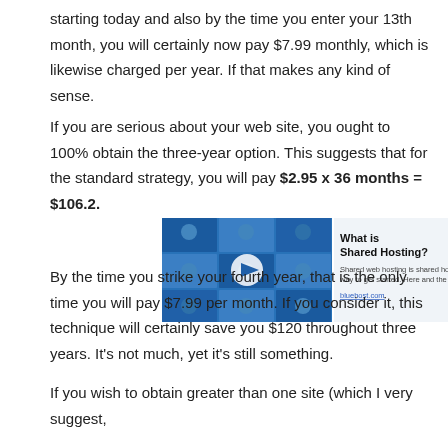starting today and also by the time you enter your 13th month, you will certainly now pay $7.99 monthly, which is likewise charged per year. If that makes any kind of sense.
If you are serious about your web site, you ought to 100% obtain the three-year option. This suggests that for the standard strategy, you will pay $2.95 x 36 months = $106.2.
[Figure (screenshot): Embedded video thumbnail showing a grid of people's faces with a play button, next to text 'What is Shared Hosting?' with a short description and a link.]
By the time you strike your fourth year, that is the only time you will pay $7.99 per month. If you consider it, this technique will certainly save you $120 throughout three years. It's not much, yet it's still something.
If you wish to obtain greater than one site (which I very suggest,